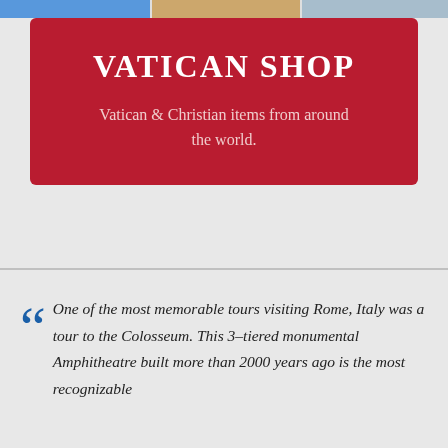[Figure (photo): Partial photo strip at the very top of the page showing people and scenes]
VATICAN SHOP
Vatican & Christian items from around the world.
One of the most memorable tours visiting Rome, Italy was a tour to the Colosseum. This 3–tiered monumental Amphitheatre built more than 2000 years ago is the most recognizable